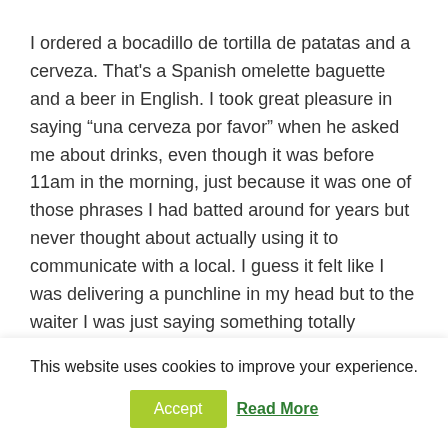I ordered a bocadillo de tortilla de patatas and a cerveza. That's a Spanish omelette baguette and a beer in English. I took great pleasure in saying “una cerveza por favor” when he asked me about drinks, even though it was before 11am in the morning, just because it was one of those phrases I had batted around for years but never thought about actually using it to communicate with a local. I guess it felt like I was delivering a punchline in my head but to the waiter I was just saying something totally pedestrian.
While I was scoffing I was busy tagging and photo...
This website uses cookies to improve your experience.